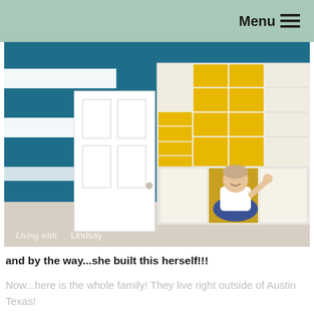Menu ≡
[Figure (photo): A woman sitting inside a large custom-built white bookcase/cabinet unit with yellow interior backing, waving at the camera. The room has teal and white striped walls and a white door. A watermark reads 'Living with Lindsay'.]
and by the way...she built this herself!!!
Now...here is the whole family!  They live right outside of Austin Texas!